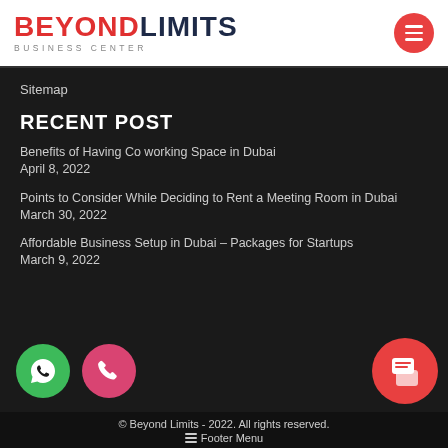[Figure (logo): Beyond Limits Business Center logo with red BEYOND and dark blue LIMITS text, plus orange hamburger menu button]
Sitemap
RECENT POST
Benefits of Having Co working Space in Dubai
April 8, 2022
Points to Consider While Deciding to Rent a Meeting Room in Dubai
March 30, 2022
Affordable Business Setup in Dubai – Packages for Startups
March 9, 2022
© Beyond Limits - 2022. All rights reserved.
☰ Footer Menu